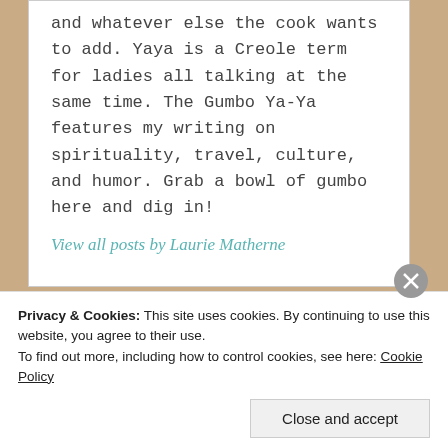and whatever else the cook wants to add. Yaya is a Creole term for ladies all talking at the same time. The Gumbo Ya-Ya features my writing on spirituality, travel, culture, and humor. Grab a bowl of gumbo here and dig in!
View all posts by Laurie Matherne
Privacy & Cookies: This site uses cookies. By continuing to use this website, you agree to their use.
To find out more, including how to control cookies, see here: Cookie Policy
Close and accept